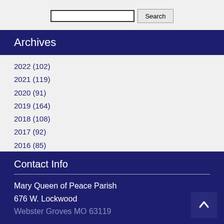Archives
2022 (102)
2021 (119)
2020 (91)
2019 (164)
2018 (108)
2017 (92)
2016 (85)
2015 (1)
Contact Info
Mary Queen of Peace Parish
676 W. Lockwood
Webster Groves MO 63119